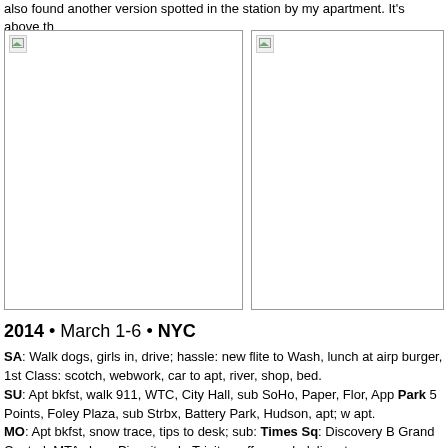also found another version spotted in the station by my apartment. It's above th
[Figure (photo): Placeholder image box (broken image icon), left photo]
[Figure (photo): Placeholder image box (broken image icon), right photo]
2014 • March 1-6 • NYC
SA: Walk dogs, girls in, drive; hassle: new flite to Wash, lunch at airp burger, 1st Class: scotch, webwork, car to apt, river, shop, bed.
SU: Apt bkfst, walk 911, WTC, City Hall, sub SoHo, Paper, Flor, App Park 5 Points, Foley Plaza, sub Strbx, Battery Park, Hudson, apt; w apt.
MO: Apt bkfst, snow trace, tips to desk; sub: Times Sq: Discovery B Grand Central; MTA shop, Pig, sit, sub; Trinity, coffee snck deli, apt